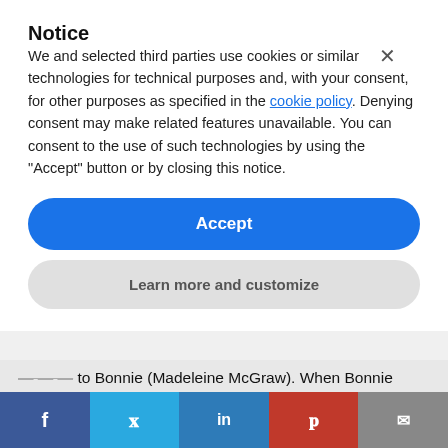Notice
We and selected third parties use cookies or similar technologies for technical purposes and, with your consent, for other purposes as specified in the cookie policy. Denying consent may make related features unavailable. You can consent to the use of such technologies by using the "Accept" button or by closing this notice.
Accept
Learn more and customize
... to Bonnie (Madeleine McGraw). When Bonnie attends kindergarten orientation, she creates a new toy from a plastic fork which she names Forky. This is when the trouble
[Figure (other): Social media share bar with Facebook, Twitter, LinkedIn, Pinterest, and email buttons]